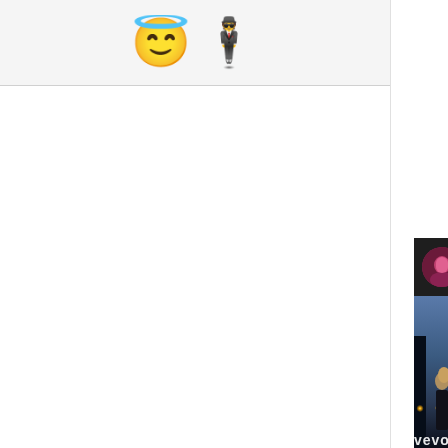[Figure (screenshot): Left panel of a messaging or social app UI showing a row of two emoji icons (halo smiley face and singer/performer emoji) in a light gray bar at the top, with white space below. To the right, a partially visible YouTube/Vevo music video for 'Tate McRae - you broke me' is shown, with a dark top bar containing a circular avatar and the video title text, below which is a night scene with street lights and a person's face, with the VEVO logo at the bottom.]